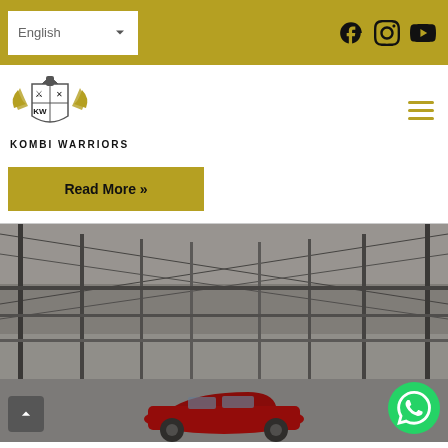[Figure (screenshot): Top navigation bar with language selector (English), social media icons (Facebook, Instagram, YouTube) on olive/gold background]
[Figure (logo): Kombi Warriors logo - shield with wings, crossed swords, helmet crest, with text KOMBI WARRIORS below]
Read More »
[Figure (photo): Industrial warehouse/hall interior with steel roof trusses, a red car visible at the bottom center of the frame]